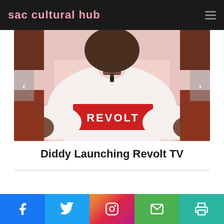sac cultural hub
[Figure (photo): Person wearing a white t-shirt with red REVOLT logo, seated, with a microphone clip, on what appears to be a talk show set. Navigation arrows on left and right sides of image.]
Diddy Launching Revolt TV
Facebook | Twitter | Instagram | Email | Print